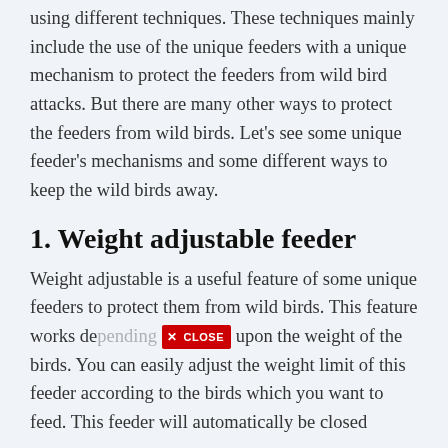using different techniques. These techniques mainly include the use of the unique feeders with a unique mechanism to protect the feeders from wild bird attacks. But there are many other ways to protect the feeders from wild birds. Let's see some unique feeder's mechanisms and some different ways to keep the wild birds away.
1. Weight adjustable feeder
Weight adjustable is a useful feature of some unique feeders to protect them from wild birds. This feature works depending upon the weight of the birds. You can easily adjust the weight limit of this feeder according to the birds which you want to feed. This feeder will automatically be closed